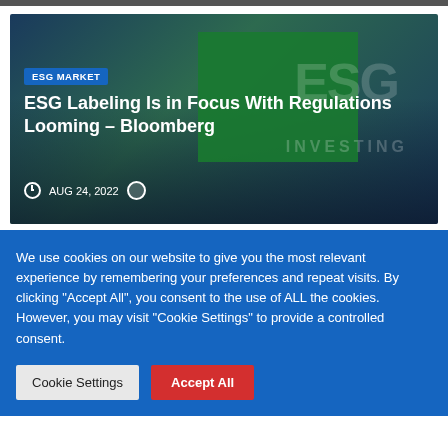[Figure (photo): ESG investing cityscape with green billboard showing ESG letters and city skyline in background. Overlay text reads 'INVESTING'.]
ESG Labeling Is in Focus With Regulations Looming – Bloomberg
AUG 24, 2022
We use cookies on our website to give you the most relevant experience by remembering your preferences and repeat visits. By clicking "Accept All", you consent to the use of ALL the cookies. However, you may visit "Cookie Settings" to provide a controlled consent.
Cookie Settings  Accept All